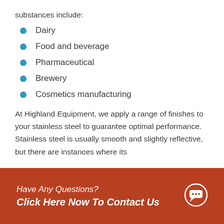substances include:
Dairy
Food and beverage
Pharmaceutical
Brewery
Cosmetics manufacturing
At Highland Equipment, we apply a range of finishes to your stainless steel to guarantee optimal performance. Stainless steel is usually smooth and slightly reflective, but there are instances where its
Have Any Questions? Click Here Now To Contact Us